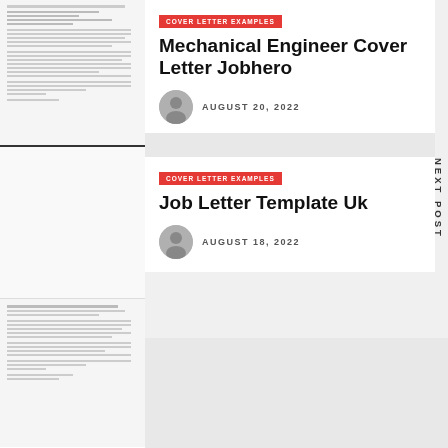[Figure (illustration): Thumbnail of a mechanical engineer cover letter document]
PREVIOUS POST
[Figure (illustration): Thumbnail of a job letter template UK document]
COVER LETTER EXAMPLES
Mechanical Engineer Cover Letter Jobhero
AUGUST 20, 2022
COVER LETTER EXAMPLES
Job Letter Template Uk
AUGUST 18, 2022
NEXT POST